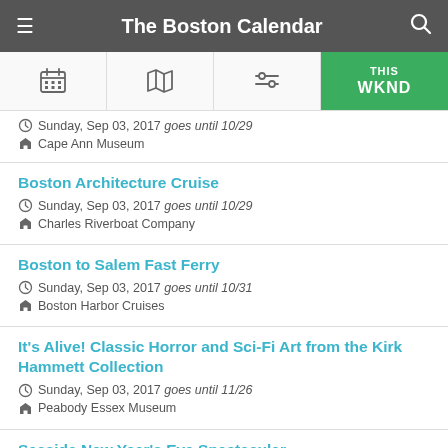The Boston Calendar
Boston Architecture Cruise — Sunday, Sep 03, 2017 goes until 10/29 — Charles Riverboat Company
Boston to Salem Fast Ferry — Sunday, Sep 03, 2017 goes until 10/31 — Boston Harbor Cruises
It's Alive! Classic Horror and Sci-Fi Art from the Kirk Hammett Collection — Sunday, Sep 03, 2017 goes until 11/26 — Peabody Essex Museum
Seaside New Year's Eve Spectacular — Sunday, Sep 03, 2017 goes until 12/08